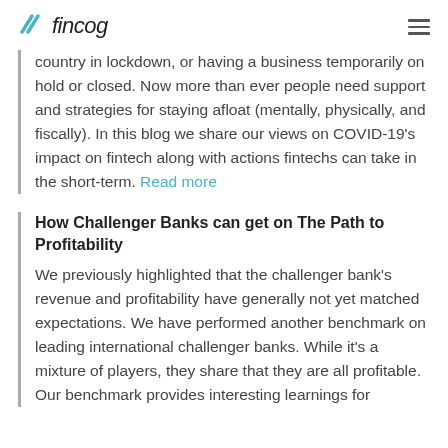fincog
country in lockdown, or having a business temporarily on hold or closed. Now more than ever people need support and strategies for staying afloat (mentally, physically, and fiscally). In this blog we share our views on COVID-19's impact on fintech along with actions fintechs can take in the short-term. Read more
How Challenger Banks can get on The Path to Profitability
We previously highlighted that the challenger bank's revenue and profitability have generally not yet matched expectations. We have performed another benchmark on leading international challenger banks. While it's a mixture of players, they share that they are all profitable. Our benchmark provides interesting learnings for